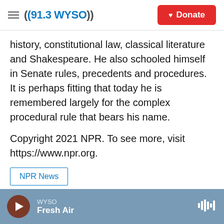((91.3 WYSO)) | Donate
history, constitutional law, classical literature and Shakespeare. He also schooled himself in Senate rules, precedents and procedures. It is perhaps fitting that today he is remembered largely for the complex procedural rule that bears his name.
Copyright 2021 NPR. To see more, visit https://www.npr.org.
NPR News
[Figure (other): Social media sharing buttons: Facebook, Twitter, LinkedIn, Email]
WYSO — Fresh Air (audio player bar)